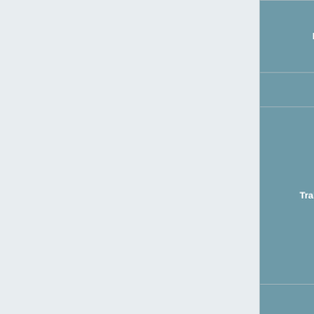| Category | Contents |
| --- | --- |
| Data Feeds | C# / Java / Ruby / Node.js) • Advanced Uses • FAQ • Release Notes |
| RTPPM | RTPPM Feed |
| Train Movements | Train Movements Feed • Train Activation • Train Cancellation • Train Movement • Train Reinstatement • Change of Origin • Change of Identity • Change of Location • TSPEED Field • Planned Cancellations • Cancellation Codes |
| TD | TD Feed • C-Class Messages • S-Class Messages • Train Describers • TD Berths |
| VSTP | VSTP Feed |
| TSR | TSR Feed • Route Codes |